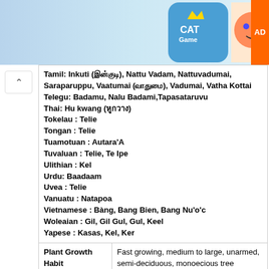[Figure (photo): Advertisement banner showing a cat game app with cartoon cats]
| Tamil: Inkuti (இன்குடி), Nattu Vadam, Nattuvadumai, Saraparuppu, Vaatumai (வாதுமை), Vadumai, Vatha Kottai
Telegu: Badamu, Nalu Badami, Tapasataruvu
Thai: Hu kwang (หูกวาง)
Tokelau: Telie
Tongan: Telie
Tuamotuan: Autara'A
Tuvaluan: Telie, Te Ipe
Ulithian: Kel
Urdu: Baadaam
Uvea: Telie
Vanuatu: Natapoa
Vietnamese: Bàng, Bang Bien, Bang Nu'o'c
Woleaian: Gil, Gil Gul, Gul, Keel
Yapese: Kasas, Kel, Ker |
| Plant Growth Habit | Fast growing, medium to large, unarmed, semi-deciduous, monoecious tree |
| Growing | Coastal thickets, beaches, rocky shores, sand |